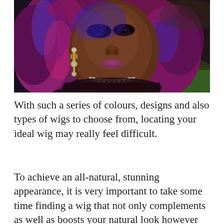[Figure (photo): Portrait of a woman with vibrant purple and magenta colored hair, wearing ornate chandelier earrings and a beaded necklace, with dramatic eye makeup, against a dark moody background with green landscape.]
With such a series of colours, designs and also types of wigs to choose from, locating your ideal wig may really feel difficult.
To achieve an all-natural, stunning appearance, it is very important to take some time finding a wig that not only complements as well as boosts your natural look however likewise really feels